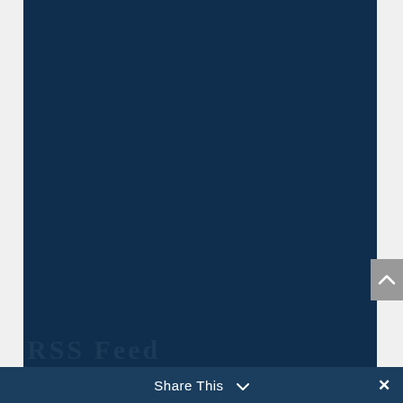Expungements
Firm News
General Criminal Defense
Helpful Information
In The Community
Press
Theft
Share This ∨  ✕